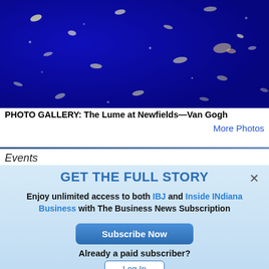[Figure (photo): A deep blue surface with scattered white and yellow marks, resembling a Van Gogh starry night or similar impressionist artwork displayed at The Lume at Newfields exhibition.]
PHOTO GALLERY: The Lume at Newfields—Van Gogh
More Photos
Events
GET THE FULL STORY
Enjoy unlimited access to both IBJ and Inside INdiana Business with The Business News Subscription
Subscribe Now
Already a paid subscriber?
Log In